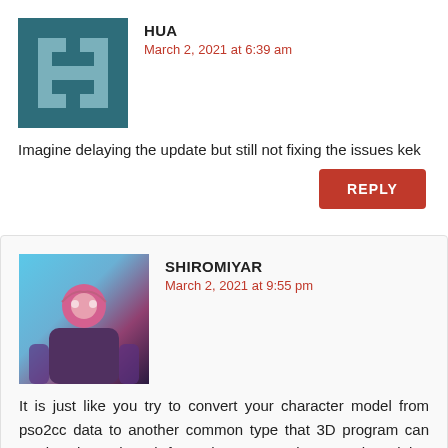HUA
March 2, 2021 at 6:39 am
Imagine delaying the update but still not fixing the issues kek
REPLY
SHIROMIYAR
March 2, 2021 at 9:55 pm
It is just like you try to convert your character model from pso2cc data to another common type that 3D program can read. I have heard from the pso2mod group that doing something similar to this is useless because of the model